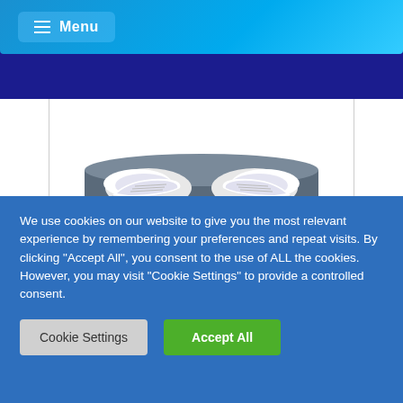Menu
[Figure (photo): Partial view of a book cover for 'The World of Karl Pilkington', showing sneakers and what appears to be a rolled carpet or mat on a white background with a border.]
The World of Karl Pilkington
Barcode: 9780007240272
£3.99
We use cookies on our website to give you the most relevant experience by remembering your preferences and repeat visits. By clicking "Accept All", you consent to the use of ALL the cookies. However, you may visit "Cookie Settings" to provide a controlled consent.
Cookie Settings
Accept All